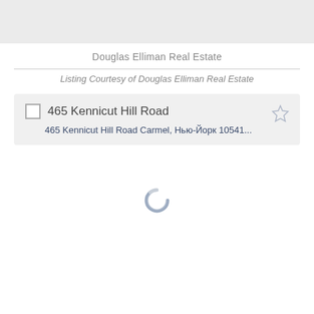Douglas Elliman Real Estate
Listing Courtesy of Douglas Elliman Real Estate
465 Kennicut Hill Road
465 Kennicut Hill Road Carmel, Нью-Йорк 10541...
[Figure (other): Loading spinner circle indicator]